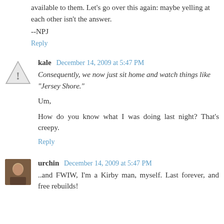available to them. Let's go over this again: maybe yelling at each other isn't the answer.
--NPJ
Reply
kale December 14, 2009 at 5:47 PM
Consequently, we now just sit home and watch things like "Jersey Shore."
Um,
How do you know what I was doing last night? That's creepy.
Reply
urchin December 14, 2009 at 5:47 PM
..and FWIW, I'm a Kirby man, myself. Last forever, and free rebuilds!